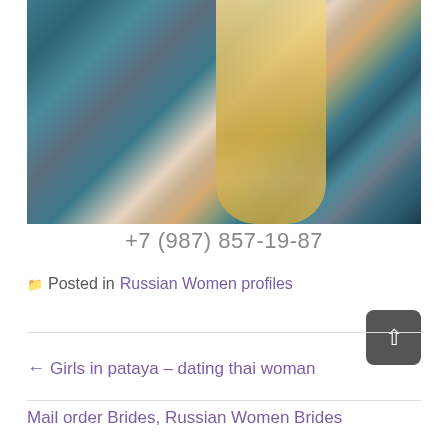[Figure (photo): A blonde woman taking a selfie in a car, wearing a teal/blue paisley patterned blouse, with long straight hair, bracelets on her wrist, dark car interior background.]
+7 (987) 857-19-87
Posted in Russian Women profiles
← Girls in pataya – dating thai woman
Mail order Brides, Russian Women Brides